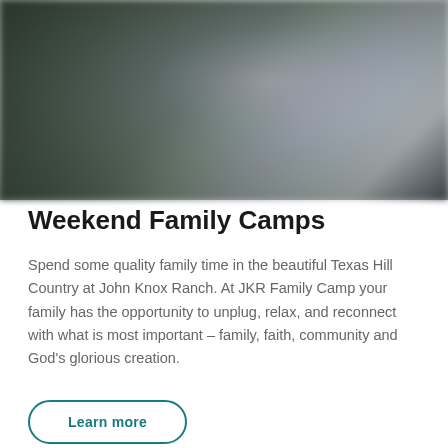[Figure (photo): Blurred outdoor/camp photo with dark green and muted tones, showing an outdoor scene at John Knox Ranch in the Texas Hill Country]
Weekend Family Camps
Spend some quality family time in the beautiful Texas Hill Country at John Knox Ranch. At JKR Family Camp your family has the opportunity to unplug, relax, and reconnect with what is most important – family, faith, community and God's glorious creation.
Learn more